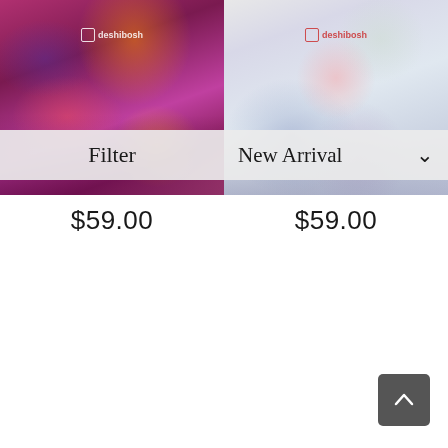[Figure (photo): Purple/magenta floral saree product photo with deshibesh logo watermark]
[Figure (photo): White/off-white floral saree product photo with deshibesh logo watermark]
Filter
New Arrival
$59.00
$59.00